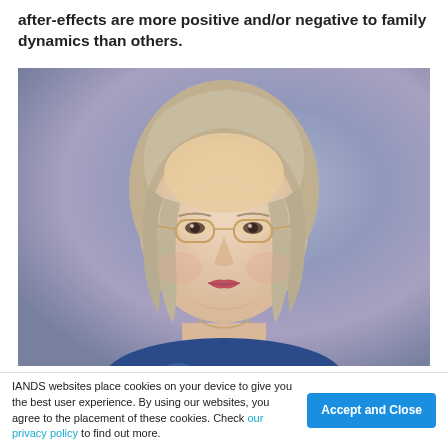after-effects are more positive and/or negative to family dynamics than others.
[Figure (photo): Portrait photo of an older woman with short gray-blonde bob haircut, wearing gold-rimmed glasses and a blue floral top, on a blurred blue-gray studio background.]
IANDS websites place cookies on your device to give you the best user experience. By using our websites, you agree to the placement of these cookies. Check our privacy policy to find out more.